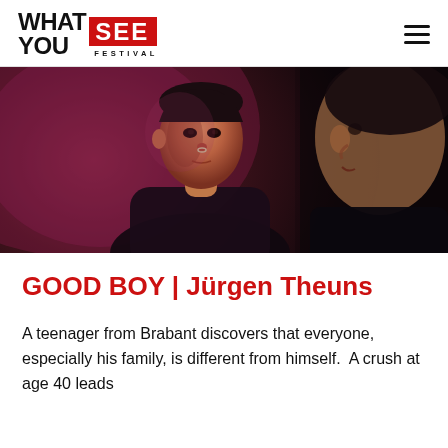WHAT YOU SEE FESTIVAL
[Figure (photo): Two male performers on a dark stage. One faces the camera with a serious expression, wearing a dark sleeveless top with a nose ring and slicked-back hair, lit with pinkish-purple light. The other is seen in profile from the right side, blurred in the foreground, wearing a dark top.]
GOOD BOY | Jürgen Theuns
A teenager from Brabant discovers that everyone, especially his family, is different from himself.  A crush at age 40 leads